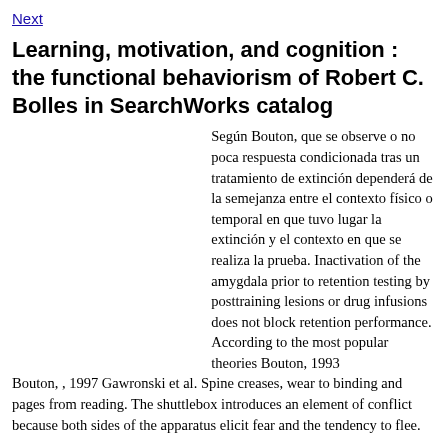Next
Learning, motivation, and cognition : the functional behaviorism of Robert C. Bolles in SearchWorks catalog
Según Bouton, que se observe o no poca respuesta condicionada tras un tratamiento de extinción dependerá de la semejanza entre el contexto físico o temporal en que tuvo lugar la extinción y el contexto en que se realiza la prueba. Inactivation of the amygdala prior to retention testing by posttraining lesions or drug infusions does not block retention performance. According to the most popular theories Bouton, 1993 Bouton, , 1997 Gawronski et al. Spine creases, wear to binding and pages from reading. The shuttlebox introduces an element of conflict because both sides of the apparatus elicit fear and the tendency to flee.